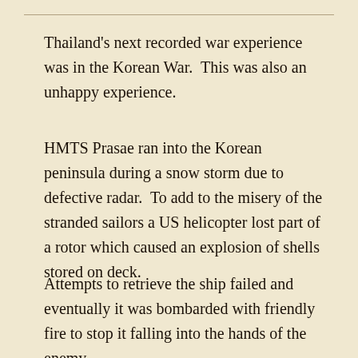Thailand's next recorded war experience was in the Korean War.  This was also an unhappy experience.
HMTS Prasae ran into the Korean peninsula during a snow storm due to defective radar.  To add to the misery of the stranded sailors a US helicopter lost part of a rotor which caused an explosion of shells stored on deck.
Attempts to retrieve the ship failed and eventually it was bombarded with friendly fire to stop it falling into the hands of the enemy.